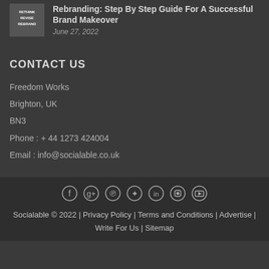[Figure (photo): Thumbnail image with text: RETHINK REVISE REBRAND on dark background]
Rebranding: Step By Step Guide For A Successful Brand Makeover
June 27, 2022
CONTACT US
Freedom Works
Brighton, UK
BN3
Phone : + 44 1273 424004
Email : info@socialable.co.uk
[Figure (infographic): Social media icons row: Facebook, Google+, Pinterest, Twitter, LinkedIn, Instagram, YouTube]
Socialable © 2022 | Privacy Policy | Terms and Conditions | Advertise | Write For Us | Sitemap